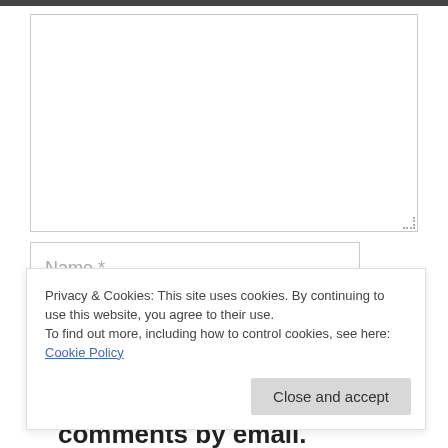[Figure (screenshot): Empty comment textarea input box with a resize handle in the bottom-right corner]
Name *
Privacy & Cookies: This site uses cookies. By continuing to use this website, you agree to their use.
To find out more, including how to control cookies, see here:
Cookie Policy
Close and accept
☐ Notify me of follow-up comments by email.